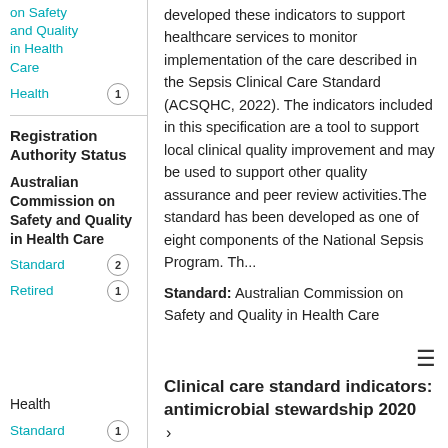on Safety and Quality in Health Care
Health  1
Registration Authority Status
Australian Commission on Safety and Quality in Health Care
Standard  2
Retired  1
Health
Standard  1
developed these indicators to support healthcare services to monitor implementation of the care described in the Sepsis Clinical Care Standard (ACSQHC, 2022). The indicators included in this specification are a tool to support local clinical quality improvement and may be used to support other quality assurance and peer review activities.The standard has been developed as one of eight components of the National Sepsis Program. Th...
Standard: Australian Commission on Safety and Quality in Health Care
Clinical care standard indicators: antimicrobial stewardship 2020